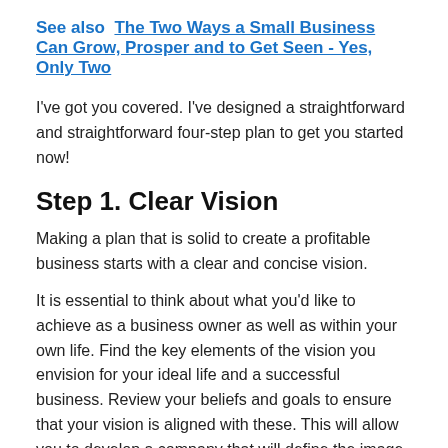See also  The Two Ways a Small Business Can Grow, Prosper and to Get Seen - Yes, Only Two
I've got you covered. I've designed a straightforward and straightforward four-step plan to get you started now!
Step 1. Clear Vision
Making a plan that is solid to create a profitable business starts with a clear and concise vision.
It is essential to think about what you'd like to achieve as a business owner as well as within your own life. Find the key elements of the vision you envision for your ideal life and a successful business. Review your beliefs and goals to ensure that your vision is aligned with these. This will allow you to develop a company that will define the image you've got for yourself. It is aligned with your goals and